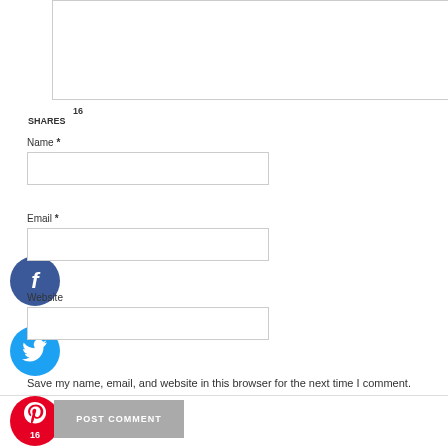[Figure (screenshot): Textarea input box at top of comment form]
16
SHARES
[Figure (infographic): Social share buttons: Facebook (blue circle with f), Twitter (light blue circle with bird), Pinterest (red circle with P and count 16), Yum (orange circle with yum text)]
Name *
[Figure (screenshot): Name input field]
Email *
[Figure (screenshot): Email input field]
Website
[Figure (screenshot): Website input field]
[Figure (screenshot): Checkbox (unchecked)]
Save my name, email, and website in this browser for the next time I comment.
[Figure (screenshot): POST COMMENT button]